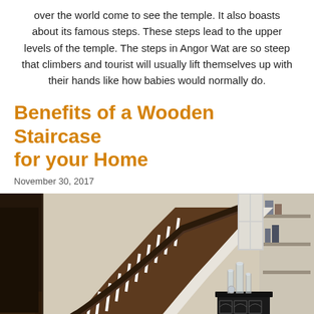over the world come to see the temple. It also boasts about its famous steps. These steps lead to the upper levels of the temple. The steps in Angor Wat are so steep that climbers and tourist will usually lift themselves up with their hands like how babies would normally do.
Benefits of a Wooden Staircase for your Home
November 30, 2017
[Figure (photo): Interior photo of a wooden staircase with dark wood handrail and treads, white balusters, white risers, viewed from the bottom looking up. A decorative black metal side table with glass candle holders is visible on the right.]